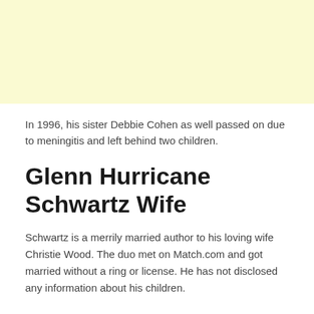[Figure (other): Light yellow background block at the top of the page]
In 1996, his sister Debbie Cohen as well passed on due to meningitis and left behind two children.
Glenn Hurricane Schwartz Wife
Schwartz is a merrily married author to his loving wife Christie Wood. The duo met on Match.com and got married without a ring or license. He has not disclosed any information about his children.